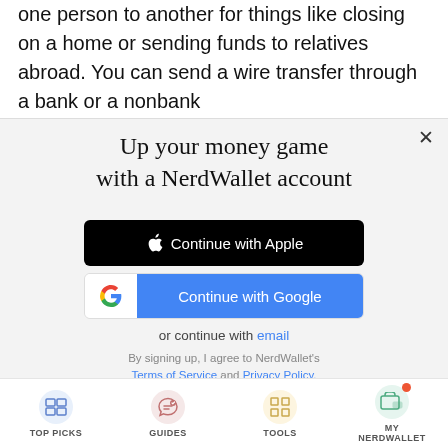one person to another for things like closing on a home or sending funds to relatives abroad. You can send a wire transfer through a bank or a nonbank
[Figure (screenshot): NerdWallet account signup modal with Continue with Apple and Continue with Google buttons, email option, and terms of service links]
TOP PICKS | GUIDES | TOOLS | MY NERDWALLET